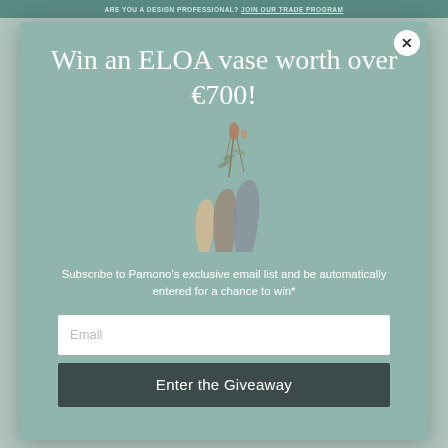ARE YOU A DESIGN PROFESSIONAL? JOIN OUR TRADE PROGRAM
Win an ELOA vase worth over €700!
[Figure (illustration): Three decorative ELOA glass vases of varying sizes and colors — one warm cream/amber, one dark taupe, one smoky grey — with dried botanical stems arranged in them]
Subscribe to Pamono's exclusive email list and be automatically entered for a chance to win*
Email
Enter the Giveaway